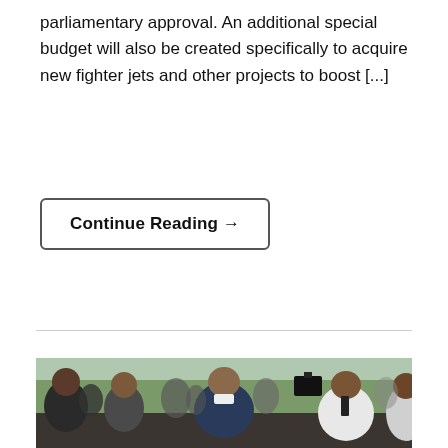parliamentary approval. An additional special budget will also be created specifically to acquire new fighter jets and other projects to boost [...]
Continue Reading →
[Figure (photo): A photograph showing a man in a dark suit jacket surrounded by a crowd of people including security personnel and photographers with cameras, outdoors with trees in background.]